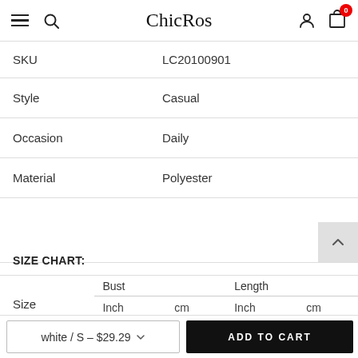ChicRos
|  |  |
| --- | --- |
| SKU | LC20100901 |
| Style | Casual |
| Occasion | Daily |
| Material | Polyester |
SIZE CHART:
| Size | Bust Inch | Bust cm | Length Inch | Length cm |
| --- | --- | --- | --- | --- |